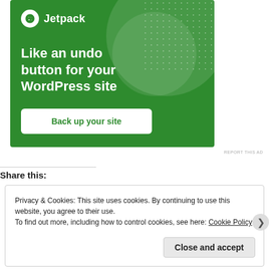[Figure (screenshot): Jetpack advertisement banner with green background. Shows Jetpack logo (white circle with lightning bolt icon and 'Jetpack' text), large decorative circles, dot pattern, tagline 'Like an undo button for your WordPress site', and a white 'Back up your site' button.]
REPORT THIS AD
Share this:
Privacy & Cookies: This site uses cookies. By continuing to use this website, you agree to their use.
To find out more, including how to control cookies, see here: Cookie Policy
Close and accept